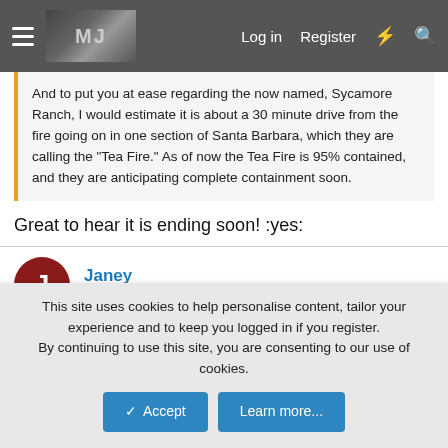Log in  Register
And to put you at ease regarding the now named, Sycamore Ranch, I would estimate it is about a 30 minute drive from the fire going on in one section of Santa Barbara, which they are calling the "Tea Fire." As of now the Tea Fire is 95% contained, and they are anticipating complete containment soon.
Great to hear it is ending soon! :yes:
Janey
Nov 18, 2008  #26
There has been a lot of coverage on the news here in the UK.
This site uses cookies to help personalise content, tailor your experience and to keep you logged in if you register.
By continuing to use this site, you are consenting to our use of cookies.